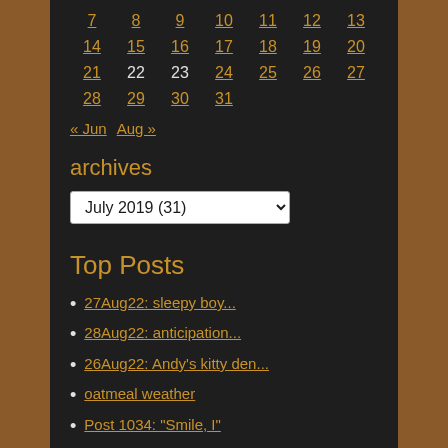| 7 | 8 | 9 | 10 | 11 | 12 | 13 |
| 14 | 15 | 16 | 17 | 18 | 19 | 20 |
| 21 | 22 | 23 | 24 | 25 | 26 | 27 |
| 28 | 29 | 30 | 31 |  |  |  |
« Jun   Aug »
archives
July 2019  (31)
Top Posts
27Aug22: sleepy boy...
28Aug22: anticipation...
26Aug22: Andy's kitty den...
oatmeal weather
Post 1034: "Smile, I"